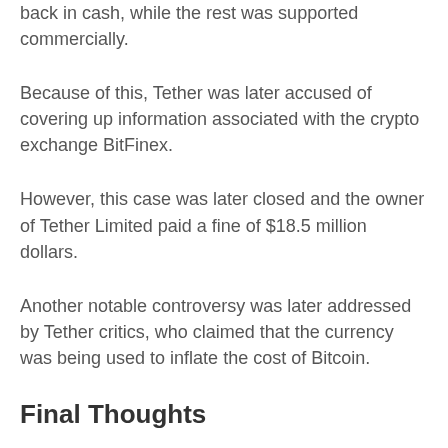back in cash, while the rest was supported commercially.
Because of this, Tether was later accused of covering up information associated with the crypto exchange BitFinex.
However, this case was later closed and the owner of Tether Limited paid a fine of $18.5 million dollars.
Another notable controversy was later addressed by Tether critics, who claimed that the currency was being used to inflate the cost of Bitcoin.
Final Thoughts